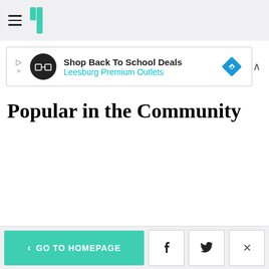HuffPost navigation header with hamburger menu and logo
[Figure (screenshot): Advertisement banner: Shop Back To School Deals - Leesburg Premium Outlets with logo and diamond navigation icon]
Popular in the Community
< GO TO HOMEPAGE | Facebook | Twitter | X close